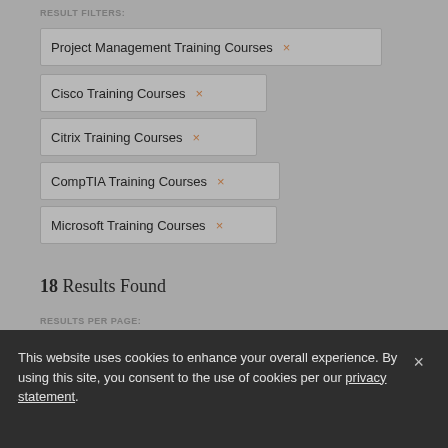RESULT FILTERS:
Project Management Training Courses ×
Cisco Training Courses ×
Citrix Training Courses ×
CompTIA Training Courses ×
Microsoft Training Courses ×
18 Results Found
RESULTS PER PAGE:
10   40   80
SORT BY:
This website uses cookies to enhance your overall experience. By using this site, you consent to the use of cookies per our privacy statement.